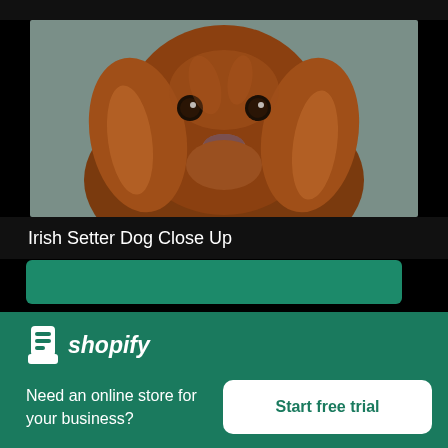[Figure (photo): Close-up photo of a brown Irish Setter dog looking directly at the camera, with wavy reddish-brown fur, against a muted green background.]
Irish Setter Dog Close Up
High resolution download ↓
[Figure (logo): Shopify logo: white shopping bag icon with 'S' and italic white text 'shopify']
Need an online store for your business?
Start free trial